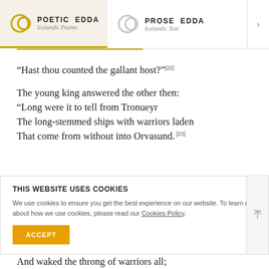POETIC EDDA — Icelandic Poems | PROSE EDDA — Icelandic Text
“Hast thou counted the gallant host?” [22]
The young king answered the other then:
“Long were it to tell from Tronueyr
The long-stemmed ships with warriors laden
That come from without into Orvasund. [23]
THIS WEBSITE USES COOKIES
We use cookies to ensure you get the best experience on our website. To learn more about how we use cookies, please read our Cookies Policy.
And waked the throng of warriors all;